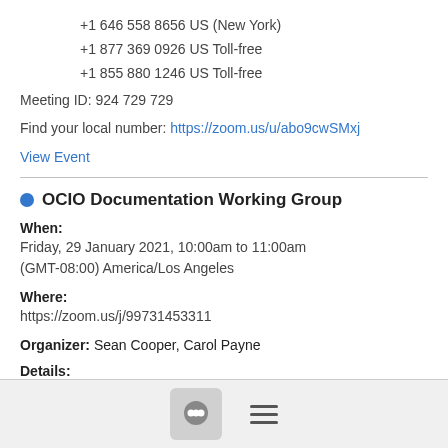+1 646 558 8656 US (New York)
+1 877 369 0926 US Toll-free
+1 855 880 1246 US Toll-free
Meeting ID: 924 729 729
Find your local number: https://zoom.us/u/abo9cwSMxj
View Event
OCIO Documentation Working Group
When:
Friday, 29 January 2021, 10:00am to 11:00am (GMT-08:00) America/Los Angeles
Where:
https://zoom.us/j/99731453311
Organizer: Sean Cooper, Carol Payne
Details:
[Figure (other): Footer bar with chat bubble icon button and hamburger menu icon]